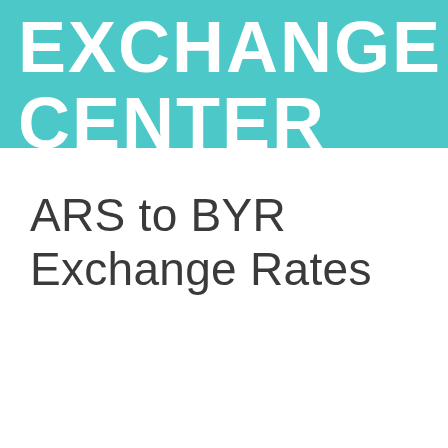EXCHANGE CENTER
ARS to BYR Exchange Rates